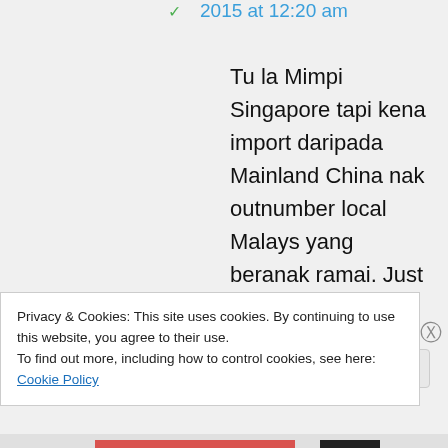2015 at 12:20 am
Tu la Mimpi Singapore tapi kena import daripada Mainland China nak outnumber local Malays yang beranak ramai. Just to keep the Bumiputera in check.
Privacy & Cookies: This site uses cookies. By continuing to use this website, you agree to their use.
To find out more, including how to control cookies, see here: Cookie Policy
Close and accept